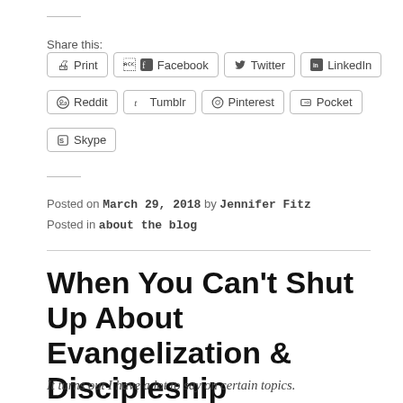Share this:
Print | Facebook | Twitter | LinkedIn | Reddit | Tumblr | Pinterest | Pocket | Skype
Posted on March 29, 2018 by Jennifer Fitz
Posted in about the blog
When You Can't Shut Up About Evangelization & Discipleship
It turns out I have a lot to say on certain topics.